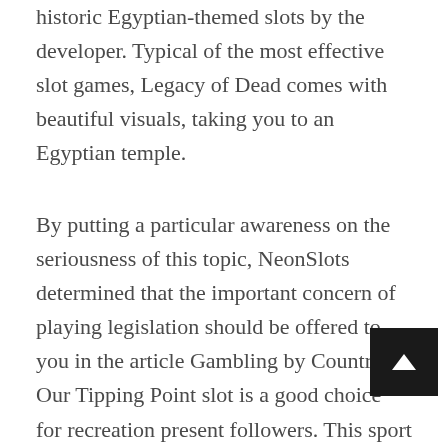historic Egyptian-themed slots by the developer. Typical of the most effective slot games, Legacy of Dead comes with beautiful visuals, taking you to an Egyptian temple.
By putting a particular awareness on the seriousness of this topic, NeonSlots determined that the important concern of playing legislation should be offered to you in the article Gambling by Country. Our Tipping Point slot is a good choice for recreation present followers. This sport takes the weather that make the smash hit present so compelling, together with the strain of ready to see where the coins land. However, the slot options multipliers, Free Spins, and rather more to further boost the action. Be the primary to enjoy the newest on-line on line casino releases from the world's top providers. You can easily get carried away whereas enjoying at a on line casino or limiting your deposits and wagers will go a good distance in serving to you manage your bankroll responsibly.